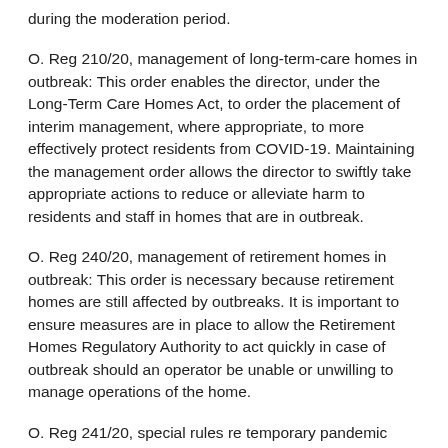during the moderation period.
O. Reg 210/20, management of long-term-care homes in outbreak: This order enables the director, under the Long-Term Care Homes Act, to order the placement of interim management, where appropriate, to more effectively protect residents from COVID-19. Maintaining the management order allows the director to swiftly take appropriate actions to reduce or alleviate harm to residents and staff in homes that are in outbreak.
O. Reg 240/20, management of retirement homes in outbreak: This order is necessary because retirement homes are still affected by outbreaks. It is important to ensure measures are in place to allow the Retirement Homes Regulatory Authority to act quickly in case of outbreak should an operator be unable or unwilling to manage operations of the home.
O. Reg 241/20, special rules re temporary pandemic pay: